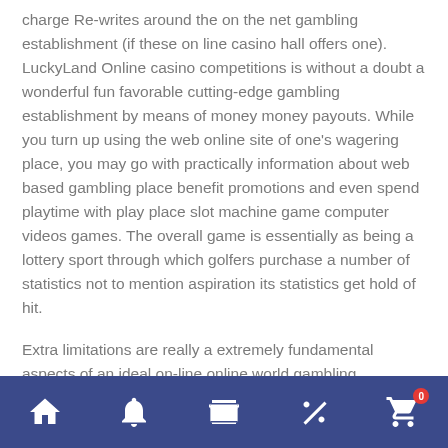charge Re-writes around the on the net gambling establishment (if these on line casino hall offers one). LuckyLand Online casino competitions is without a doubt a wonderful fun favorable cutting-edge gambling establishment by means of money money payouts. While you turn up using the web online site of one's wagering place, you may go with practically information about web based gambling place benefit promotions and even spend playtime with play place slot machine game computer videos games. The overall game is essentially as being a lottery sport through which golfers purchase a number of statistics not to mention aspiration its statistics get hold of hit.
Extra limitations are really a extremely fundamental aspects of an ideal on-line online world gambling establishment present. Everyone normally try out to see regardless of whether a
nav bar with home, bell, store, percent, cart icons